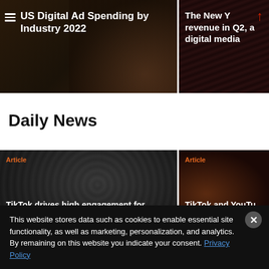[Figure (screenshot): Card with dark background showing a person holding a phone with chart on screen]
US Digital Ad Spending by Industry 2022
[Figure (screenshot): Card with dark geometric pattern background, arrow up icon]
The New Y... revenue in Q2, a... digital media
Daily News
[Figure (screenshot): Article card with dark textured background]
Article
TikTok drives high engagement for brands across industries
[Figure (screenshot): Article card with dark warm background]
Article
TikTok and YouTu... increasingly be c... CTVand li...
This website stores data such as cookies to enable essential site functionality, as well as marketing, personalization, and analytics. By remaining on this website you indicate your consent. Privacy Policy